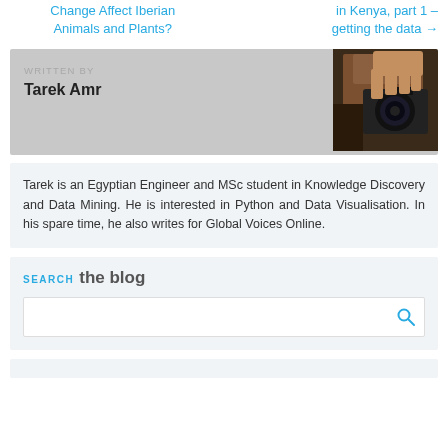Change Affect Iberian Animals and Plants?
in Kenya, part 1 – getting the data →
WRITTEN BY
Tarek Amr
[Figure (photo): A person holding a camera, photographed from below, in a dimly lit setting.]
Tarek is an Egyptian Engineer and MSc student in Knowledge Discovery and Data Mining. He is interested in Python and Data Visualisation. In his spare time, he also writes for Global Voices Online.
SEARCH the blog